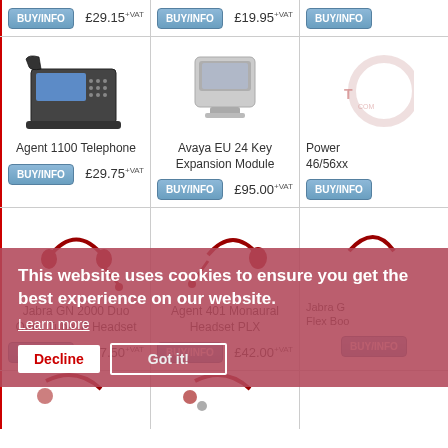[Figure (photo): Product grid showing telephones and headsets with buy buttons and prices. Top row: BUY/INFO £29.15+VAT, BUY/INFO £19.95+VAT, BUY/INFO (partial). Middle row: Agent 1100 Telephone £29.75+VAT, Avaya EU 24 Key Expansion Module £95.00+VAT, Power 46/56xx (partial). Bottom product row: Jabra GN 2000 Duo Omni Tube IP Headset £87.50+VAT, Agent 401 Monaural Headset PLX £42.00+VAT, Jabra G Flex Boo (partial). Lowest row shows partial headset images.]
This website uses cookies to ensure you get the best experience on our website.
Learn more
Decline
Got it!